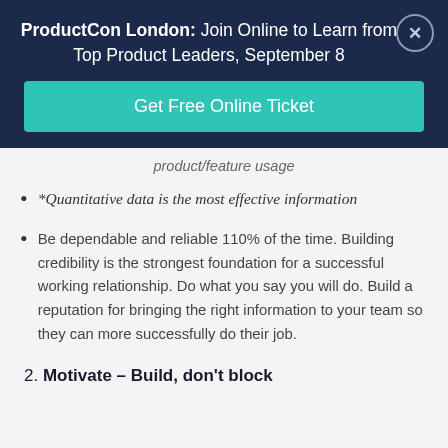ProductCon London: Join Online to Learn from Top Product Leaders, September 8
Get Free Online Ticket
product/feature usage
*Quantitative data is the most effective information
Be dependable and reliable 110% of the time. Building credibility is the strongest foundation for a successful working relationship. Do what you say you will do. Build a reputation for bringing the right information to your team so they can more successfully do their job.
2. Motivate – Build, don't block